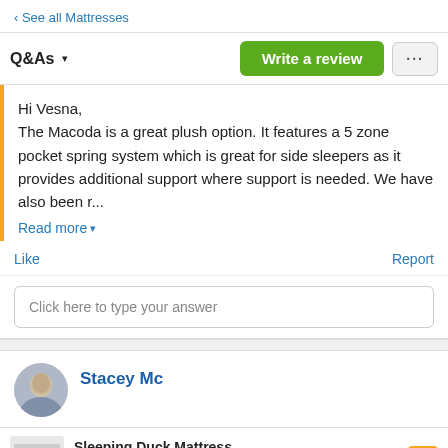‹ See all Mattresses
Q&As ▾
Write a review
...
Hi Vesna,
The Macoda is a great plush option. It features a 5 zone pocket spring system which is great for side sleepers as it provides additional support where support is needed. We have also been r...
Read more ▾
Like
Report
Click here to type your answer
Stacey Mc
Sleeping Duck Mattress
Ad
★★★★★ 4.8 from 5,232 reviews
Hi, this is my 3rd night sleeping on my new